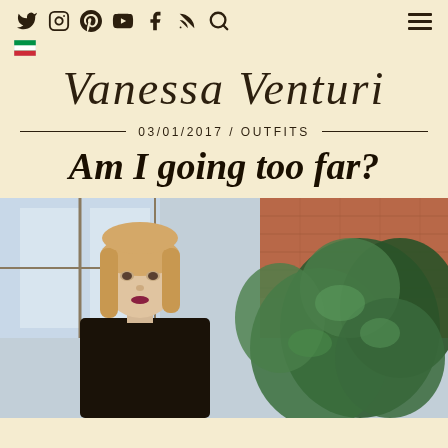Twitter Instagram Pinterest YouTube Facebook RSS Search | Menu — Vanessa Venturi blog header navigation
Vanessa Venturi
03/01/2017 / OUTFITS
Am I going too far?
[Figure (photo): Photograph of a young blonde woman wearing dark clothing, standing in front of a window with green leafy plants and brick wall visible in the background]